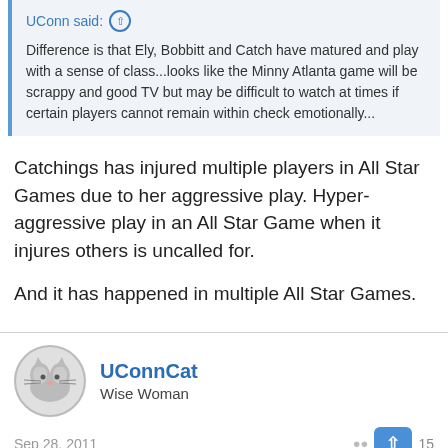UConn said:
Difference is that Ely, Bobbitt and Catch have matured and play with a sense of class...looks like the Minny Atlanta game will be scrappy and good TV but may be difficult to watch at times if certain players cannot remain within check emotionally...
Catchings has injured multiple players in All Star Games due to her aggressive play. Hyper-aggressive play in an All Star Game when it injures others is uncalled for.

And it has happened in multiple All Star Games.
UConnCat
Wise Woman
Sep 28, 2011
CamrnCrz1974 said:
Catchings has injured multiple players in All Star Games due to her aggressive play. Hyper-aggressive play in an All Star Game when it